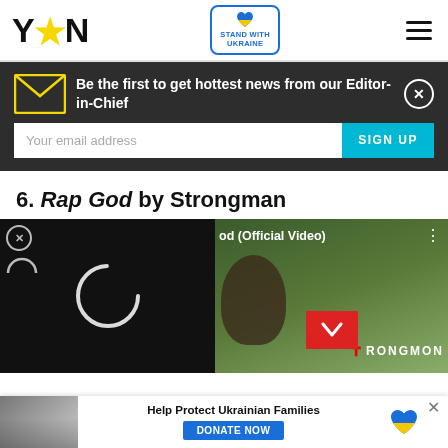YEN — Stand with Ukraine — Menu
Be the first to get hottest news from our Editor-in-Chief
Your email address  SIGN UP
6. Rap God by Strongman
[Figure (screenshot): Embedded YouTube video player showing 'Rap God (Official Video)' by Strongman, partially loaded with a spinner on the left black area and a thumbnail on the right showing a person outdoors with Strongman logo]
[Figure (infographic): Bottom banner ad: 'Help Protect Ukrainian Families' with DONATE NOW button and Ukrainian flag heart icon]